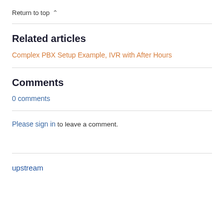Return to top ∧
Related articles
Complex PBX Setup Example, IVR with After Hours
Comments
0 comments
Please sign in to leave a comment.
upstream